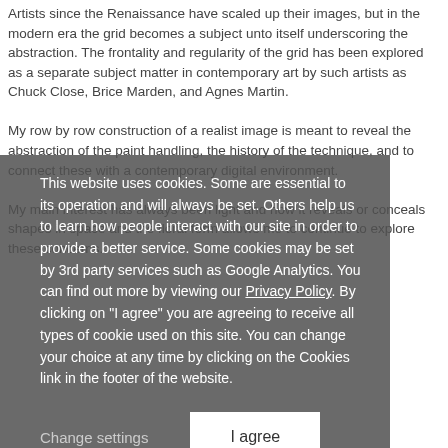Artists since the Renaissance have scaled up their images, but in the modern era the grid becomes a subject unto itself underscoring the abstraction. The frontality and regularity of the grid has been explored as a separate subject matter in contemporary art by such artists as Chuck Close, Brice Marden, and Agnes Martin.
My row by row construction of a realist image is meant to reveal the abstraction of the paint handling, the history of the technique, and to connect these with a contemporary digital environment.
My main interest has always been light and how it reveals or conceals shapes in space and the floral form allows me to continue to explore these concerns.
This website uses cookies. Some are essential to its operation and will always be set. Others help us to learn how people interact with our site in order to provide a better service. Some cookies may be set by 3rd party services such as Google Analytics. You can find out more by viewing our Privacy Policy. By clicking on "I agree" you are agreeing to receive all types of cookie used on this site. You can change your choice at any time by clicking on the Cookies link in the footer of the website.